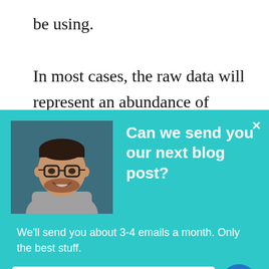be using.

In most cases, the raw data will represent an abundance of information. For example, if you are building an online sales overview report, you will have a lot of data regarding customer
[Figure (screenshot): A popup overlay on a webpage with a teal/cyan background. It shows a photo of a smiling man with glasses, a bold white heading 'Can we send you our next blog post?', a close X button, body text 'We'll send you about 3-4 emails a month. Only the best stuff.', and a white 'Subscribe to the blog' button with a blue chat icon.]